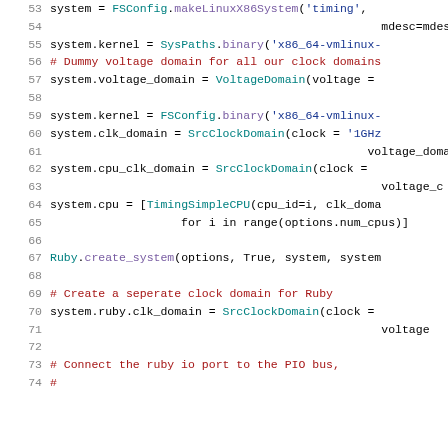[Figure (screenshot): Python source code snippet showing gem5 simulation configuration, lines 53-73, with syntax highlighting. Code sets up a Linux x86 system with FSConfig, kernel, voltage domain, clock domain, CPU, Ruby memory system configuration.]